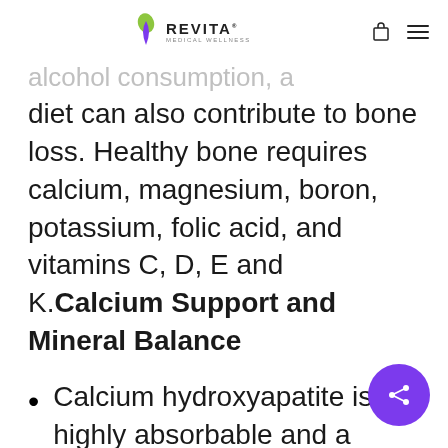REVITA MEDICAL WELLNESS
diet can also contribute to bone loss. Healthy bone requires calcium, magnesium, boron, potassium, folic acid, and vitamins C, D, E and K.Calcium Support and Mineral Balance
Calcium hydroxyapatite is highly absorbable and a superior source of calci-um that provides other essential minerals (such as magnesium